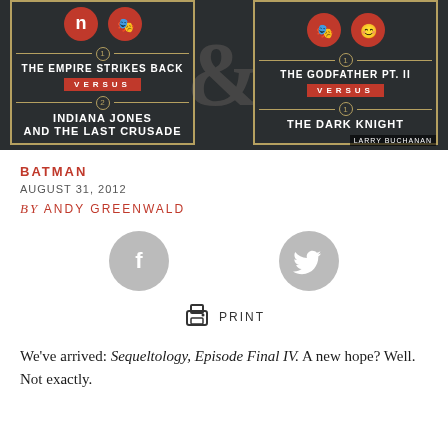[Figure (illustration): Two movie matchup infographic cards side by side on dark background. Left card: 'The Empire Strikes Back' VERSUS 'Indiana Jones and the Last Crusade'. Right card: 'The Godfather Pt. II' VERSUS 'The Dark Knight'. Large ampersand watermark in center. Credit: LARRY BUCHANAN.]
BATMAN
AUGUST 31, 2012
by ANDY GREENWALD
[Figure (logo): Facebook share button circle icon (gray)]
[Figure (logo): Twitter share button circle icon (gray)]
[Figure (infographic): Print button icon with PRINT label]
We’ve arrived: Sequeltology, Episode Final IV. A new hope? Well. Not exactly.